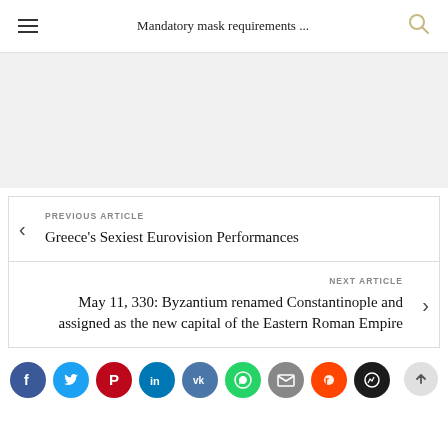Mandatory mask requirements ...
[Figure (other): Gray advertisement/banner placeholder area]
PREVIOUS ARTICLE
Greece's Sexiest Eurovision Performances
NEXT ARTICLE
May 11, 330: Byzantium renamed Constantinople and assigned as the new capital of the Eastern Roman Empire
[Figure (other): Social sharing icons row: Facebook, Twitter, Pinterest, LinkedIn, VK, WhatsApp, Email, Reddit, Messenger; scroll-to-top button]